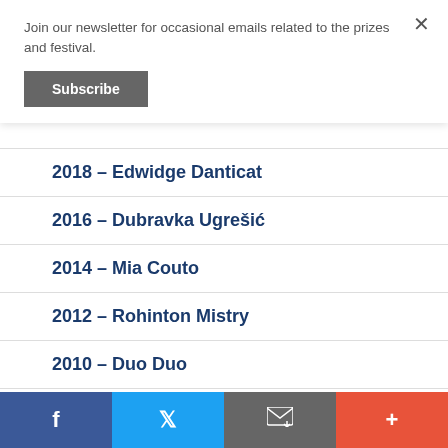Join our newsletter for occasional emails related to the prizes and festival.
Subscribe
2018 – Edwidge Danticat
2016 – Dubravka Ugrešić
2014 – Mia Couto
2012 – Rohinton Mistry
2010 – Duo Duo
2008 – Patricia Grace
Facebook | Twitter | Email | More